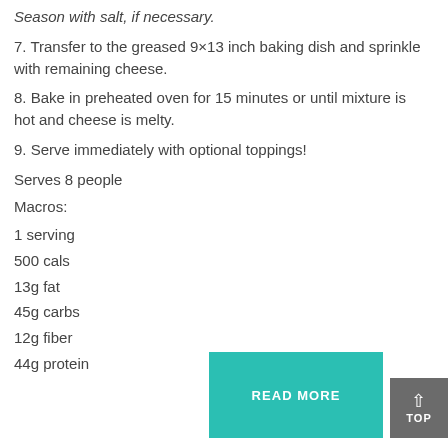Season with salt, if necessary.
7. Transfer to the greased 9×13 inch baking dish and sprinkle with remaining cheese.
8. Bake in preheated oven for 15 minutes or until mixture is hot and cheese is melty.
9. Serve immediately with optional toppings!
Serves 8 people
Macros:
1 serving
500 cals
13g fat
45g carbs
12g fiber
44g protein